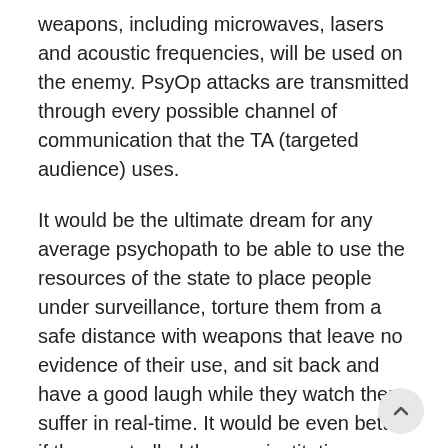weapons, including microwaves, lasers and acoustic frequencies, will be used on the enemy. PsyOp attacks are transmitted through every possible channel of communication that the TA (targeted audience) uses.
It would be the ultimate dream for any average psychopath to be able to use the resources of the state to place people under surveillance, torture them from a safe distance with weapons that leave no evidence of their use, and sit back and have a good laugh while they watch them suffer in real-time. It would be even better if they controlled the very institutions which proclaimed to exist to expose such activities.
Their widespread, systematic, consistent vile activities, which have spanned multiple realms